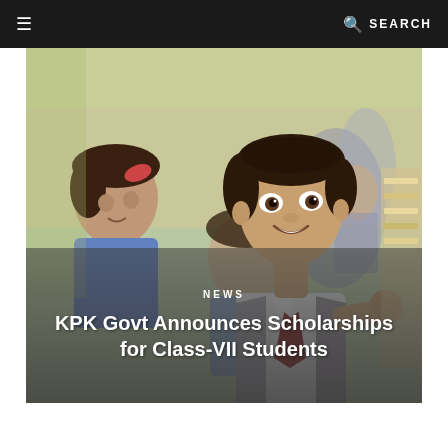≡  🔍 SEARCH
[Figure (photo): School children in uniforms in a classroom setting. A smiling boy in white shirt and red tie is prominent in the foreground, with two girls in blue uniforms behind him.]
NEWS
KPK Govt Announces Scholarships for Class-VII Students